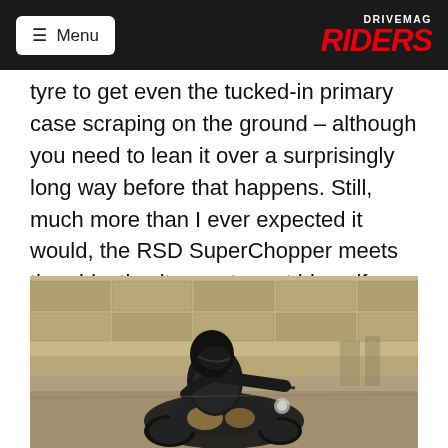Menu | DRIVEMAG RIDERS
tyre to get even the tucked-in primary case scraping on the ground – although you need to lean it over a surprisingly long way before that happens. Still, much more than I ever expected it would, the RSD SuperChopper meets the objective its creator set himself when he came to build it. It handles!
[Figure (photo): A rider in black leather gear and helmet riding the RSD SuperChopper motorcycle, leaning into a corner on a road, shot from a low front angle.]